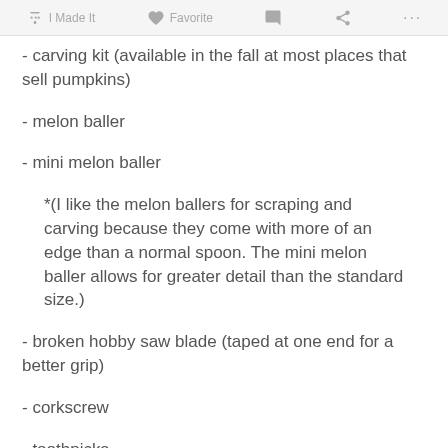I Made It   Favorite   ... (share/more icons)
- carving kit (available in the fall at most places that sell pumpkins)
- melon baller
- mini melon baller
*(I like the melon ballers for scraping and carving because they come with more of an edge than a normal spoon. The mini melon baller allows for greater detail than the standard size.)
- broken hobby saw blade (taped at one end for a better grip)
- corkscrew
- toothpicks